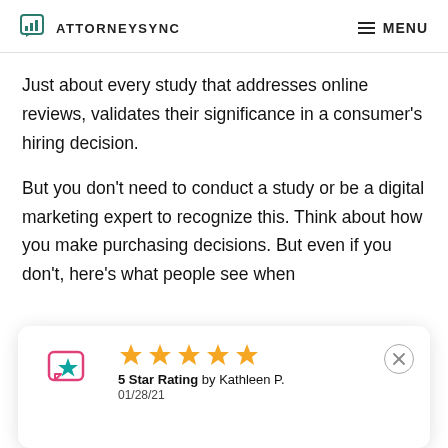ATTORNEYSYNC  MENU
Just about every study that addresses online reviews, validates their significance in a consumer's hiring decision.
But you don't need to conduct a study or be a digital marketing expert to recognize this. Think about how you make purchasing decisions. But even if you don't, here's what people see when
[Figure (screenshot): Review card showing 5 gold stars, '5 Star Rating by Kathleen P.' dated 01/28/21, with a teal chat-bubble icon with star on the left and a close (X) button on the right.]